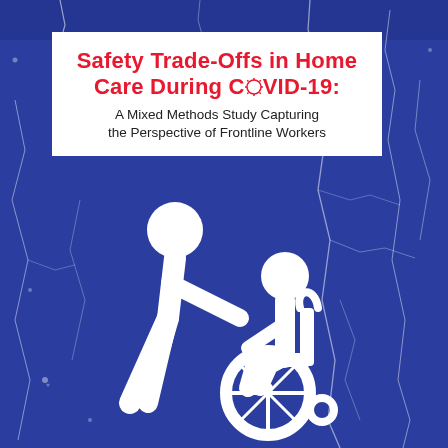Safety Trade-Offs in Home Care During COVID-19: A Mixed Methods Study Capturing the Perspective of Frontline Workers
[Figure (illustration): White silhouette icons on blue textured background showing a caregiver walking and pushing a person in a wheelchair, representing home care assistance]